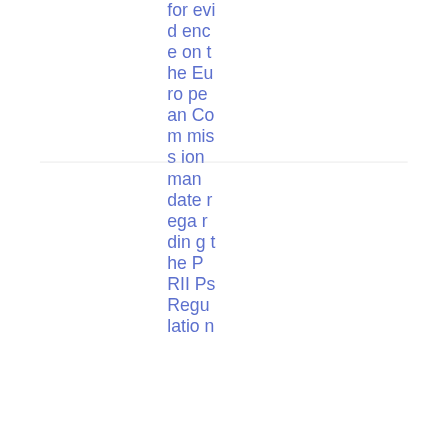for evidence on the European Commission mandate regarding the PRIIPs Regulation